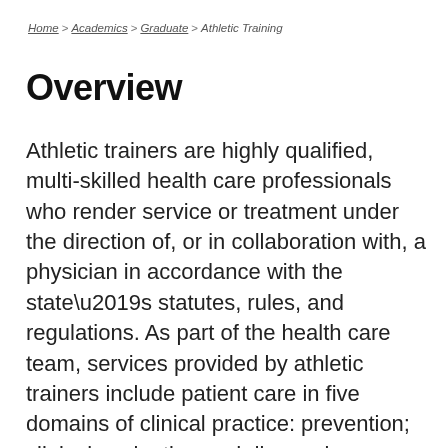Home > Academics > Graduate > Athletic Training
Overview
Athletic trainers are highly qualified, multi-skilled health care professionals who render service or treatment under the direction of, or in collaboration with, a physician in accordance with the state’s statutes, rules, and regulations. As part of the health care team, services provided by athletic trainers include patient care in five domains of clinical practice: prevention; clinical evaluation and diagnosis; immediate care; treatment and rehabilitation; and